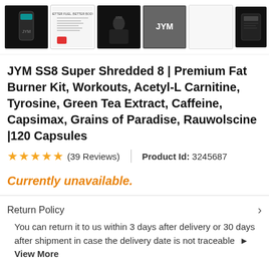[Figure (screenshot): Product image gallery row with 6 thumbnail images of JYM SS8 supplement product, plus user/cart/menu icons on the right]
JYM SS8 Super Shredded 8 | Premium Fat Burner Kit, Workouts, Acetyl-L Carnitine, Tyrosine, Green Tea Extract, Caffeine, Capsimax, Grains of Paradise, Rauwolscine |120 Capsules
★★★★★ (39 Reviews)   |   Product Id: 3245687
Currently unavailable.
Return Policy
You can return it to us within 3 days after delivery or 30 days after shipment in case the delivery date is not traceable  ▸ View More